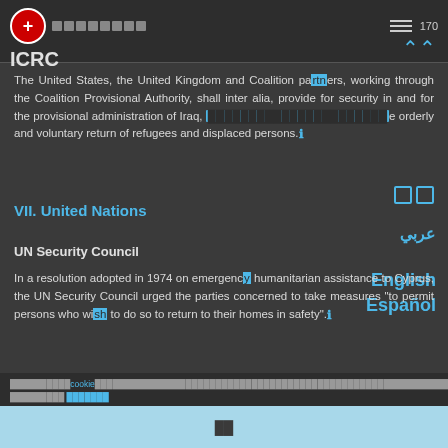ICRC
The United States, the United Kingdom and Coalition partners, working through the Coalition Provisional Authority, shall inter alia, provide for security in and for the provisional administration of Iraq, [highlighted text], the orderly and voluntary return of refugees and displaced persons.
VII. United Nations
UN Security Council
In a resolution adopted in 1974 on emergency humanitarian assistance to Cyprus, the UN Security Council urged the parties concerned to take measures "to permit persons who wish to do so to return to their homes in safety".
cookie [cookie notice text]